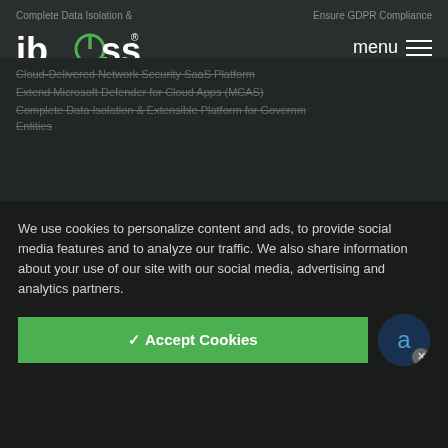Complete Data Isolation & ... for Government Entities | Ensure GDPR Compliance
[Figure (logo): iboss logo - white text with green power button icon]
menu
Solutions
Get Remote Workers Connected to Web Faster
Get Faster Connections to Office 365
Eliminate or Reduce Data Center Infrastructure
Cloud-Delivered Network Security SaaS Platform
Extend Microsoft Defender for Cloud Apps (MCAS)
Complete Data Isolation & Extensible Platform for Government Entities
We use cookies to personalize content and ads, to provide social media features and to analyze our traffic. We also share information about your use of our site with our social media, advertising and analytics partners.
✓ Accept Cookies